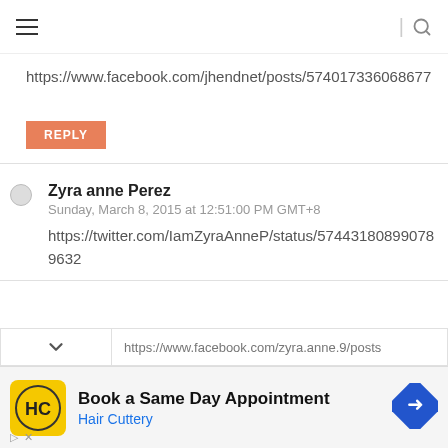≡  | 🔍
https://www.facebook.com/jhendnet/posts/574017336068677
REPLY
Zyra anne Perez
Sunday, March 8, 2015 at 12:51:00 PM GMT+8
https://twitter.com/IamZyraAnneP/status/574431808990789632
https://www.facebook.com/zyra.anne.9/posts
Book a Same Day Appointment
Hair Cuttery